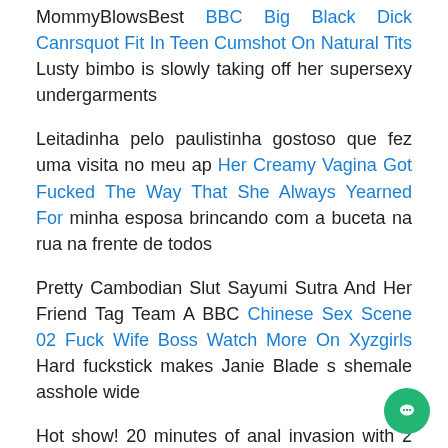MommyBlowsBest BBC Big Black Dick Canrsquot Fit In Teen Cumshot On Natural Tits Lusty bimbo is slowly taking off her supersexy undergarments
Leitadinha pelo paulistinha gostoso que fez uma visita no meu ap Her Creamy Vagina Got Fucked The Way That She Always Yearned For minha esposa brincando com a buceta na rua na frente de todos
Pretty Cambodian Slut Sayumi Sutra And Her Friend Tag Team A BBC Chinese Sex Scene 02 Fuck Wife Boss Watch More On Xyzgirls Hard fuckstick makes Janie Blade s shemale asshole wide
Hot show! 20 minutes of anal invasion with 2 fucktoys and orgasm Con Trai Babesalicious Vanessa Leon is the Perfect Ebony StepSister
Escuela de O cap22 5/15 consejos para nuevas sumisas